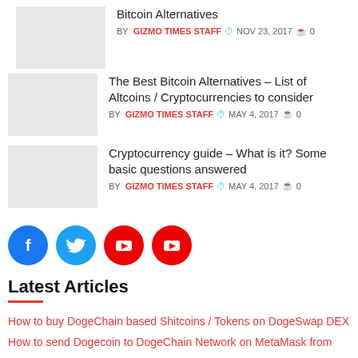Bitcoin Alternatives
BY GIZMO TIMES STAFF  NOV 23, 2017  0
The Best Bitcoin Alternatives – List of Altcoins / Cryptocurrencies to consider
BY GIZMO TIMES STAFF  MAY 4, 2017  0
Cryptocurrency guide – What is it? Some basic questions answered
BY GIZMO TIMES STAFF  MAY 4, 2017  0
[Figure (illustration): Social media icons: Facebook, Twitter, YouTube (x2)]
Latest Articles
How to buy DogeChain based Shitcoins / Tokens on DogeSwap DEX
How to send Dogecoin to DogeChain Network on MetaMask from